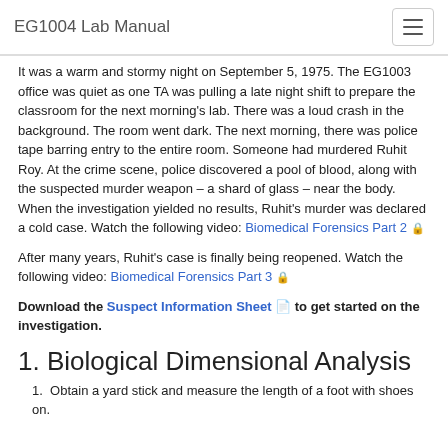EG1004 Lab Manual
It was a warm and stormy night on September 5, 1975. The EG1003 office was quiet as one TA was pulling a late night shift to prepare the classroom for the next morning's lab. There was a loud crash in the background. The room went dark. The next morning, there was police tape barring entry to the entire room. Someone had murdered Ruhit Roy. At the crime scene, police discovered a pool of blood, along with the suspected murder weapon – a shard of glass – near the body. When the investigation yielded no results, Ruhit's murder was declared a cold case. Watch the following video: Biomedical Forensics Part 2 🔒
After many years, Ruhit's case is finally being reopened. Watch the following video: Biomedical Forensics Part 3 🔒
Download the Suspect Information Sheet 📄 to get started on the investigation.
1. Biological Dimensional Analysis
Obtain a yard stick and measure the length of a foot with shoes on.